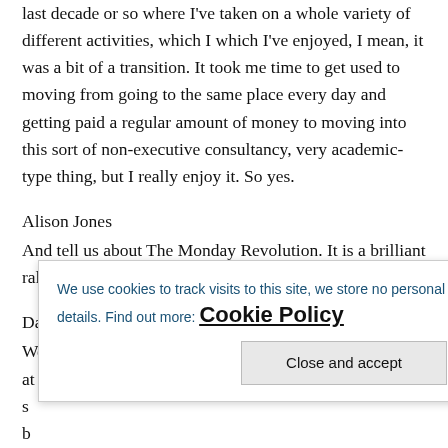last decade or so where I've taken on a whole variety of different activities, which I which I've enjoyed, I mean, it was a bit of a transition. It took me time to get used to moving from going to the same place every day and getting paid a regular amount of money to moving into this sort of non-executive consultancy, very academic-type thing, but I really enjoy it. So yes.
Alison Jones
And tell us about The Monday Revolution. It is a brilliant rallying call, isn't it? But what do you mean by it?
David Mansfield
Well, it came about because I was talking to a professor at Cass b s b h practical experiences. And so we had a great time getting to know
We use cookies to track visits to this site, we store no personal details. Find out more: Cookie Policy
Close and accept